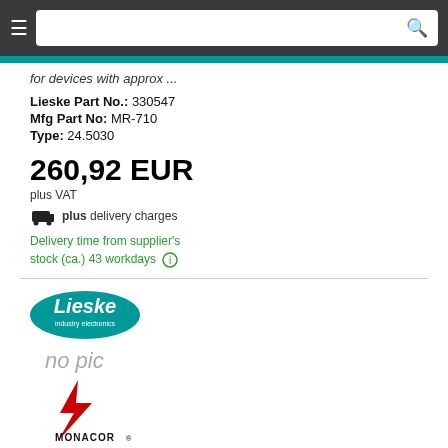Search bar with hamburger menu and search icon
for devices with approx ...
Lieske Part No.: 330547
Mfg Part No: MR-710
Type: 24.5030
260,92 EUR
plus VAT
plus delivery charges
Delivery time from supplier's stock (ca.) 43 workdays
[Figure (logo): Lieske Industry Electronics logo - oval teal shape with Lieske text]
no pic
[Figure (logo): Monacor logo - red lightning bolt with MONACOR text below]